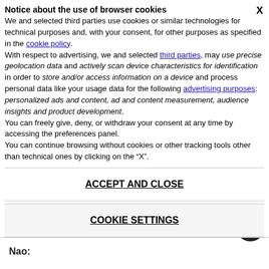Notice about the use of browser cookies
We and selected third parties use cookies or similar technologies for technical purposes and, with your consent, for other purposes as specified in the cookie policy.
With respect to advertising, we and selected third parties, may use precise geolocation data and actively scan device characteristics for identification in order to store and/or access information on a device and process personal data like your usage data for the following advertising purposes: personalized ads and content, ad and content measurement, audience insights and product development.
You can freely give, deny, or withdraw your consent at any time by accessing the preferences panel.
You can continue browsing without cookies or other tracking tools other than technical ones by clicking on the “X”.
ACCEPT AND CLOSE
COOKIE SETTINGS
ottodiy aibo malta robotic mro
Nao: